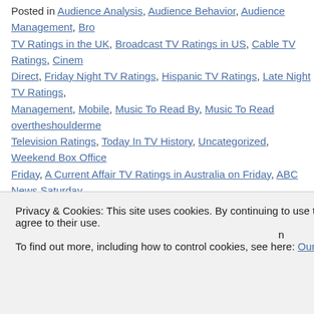Posted in Audience Analysis, Audience Behavior, Audience Management, Broadcast TV Ratings in the UK, Broadcast TV Ratings in US, Cable TV Ratings, Cinema Direct, Friday Night TV Ratings, Hispanic TV Ratings, Late Night TV Ratings, Management, Mobile, Music To Read By, Music To Read overtheshoulderme, Television Ratings, Today In TV History, Uncategorized, Weekend Box Office Friday, A Current Affair TV Ratings in Australia on Friday, ABC News Saturday TV Ratings in Australia on Friday, ABC TV Ratings in Australia on Friday, ABC TV Ratings in Australia on Saturday, America's Got Talent TV Ratings on Friday, Friday, BBC Two TV Ratings in the UK on Friday, Better Home & Gardens TV #1 on Friday, Blue Bloods TV Ratings on Friday, CBS #1 On Friday, CBS TV the UK on Friday, Channel 5 TV Ratings in the UK on Friday, Clare Nova, CN Elementary TV Ratings on Friday, FOX TV Ratings on Friday, Gotham TV Ra on Friday, Home and Away TV Ratings in Australia on Friday, Hot Seat TV Ra in the UK on Friday, Lance Hanish, Living Room TV Ratings in Australia on F Masters of Illusion TV Ratings on Friday, NBC TV Ratings on Friday, Nine Ne Nine News TV Ratings in Australia on Friday, Nine TV Ratings in Australia on on Friday, Primetime: What Would You Do? TV Ratings on Friday, Project 7P
Privacy & Cookies: This site uses cookies. By continuing to use this website, you agree to their use.
To find out more, including how to control cookies, see here: Our Cookie Policy